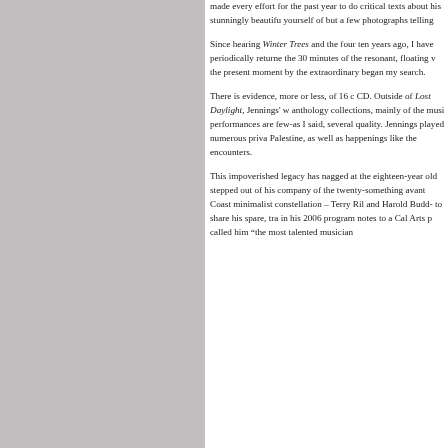made every effort for the past year to do critical texts about his stunningly beautiful yourself of but a few photographs telling
Since hearing Winter Trees and the four ten years ago, I have periodically returned the 30 minutes of the resonant, floating v the present moment by the extraordinary began my search.
There is evidence, more or less, of 16 c CD. Outside of Lost Daylight, Jennings' w anthology collections, mainly of the musi performances are few-as I said, several quality. Jennings played numerous priva Palestine, as well as happenings like the encounters.
This impoverished legacy has nagged at the eighteen-year old stepped out of his company of the twenty-something avant Coast minimalist constellation – Terry Ril and Harold Budd- to share his spare, tra in his 2006 program notes to a Cal Arts p called him "the most talented musician